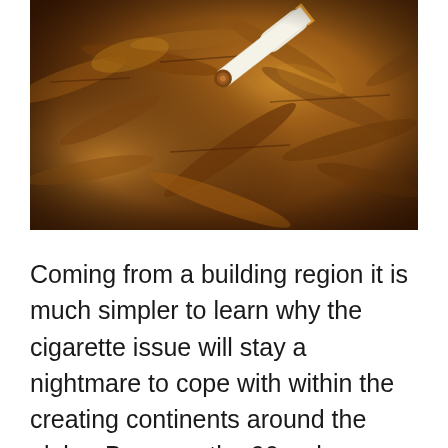[Figure (photo): Close-up photo of dried tobacco leaves with a cigarette resting on top, angled diagonally]
Coming from a building region it is much simpler to learn why the cigarette issue will stay a nightmare to cope with within the creating continents around the globe. Because the 90s when major smoking cigarettes in the USA was exposed in so far as the dangerous results of smoking cigarettes are involved,